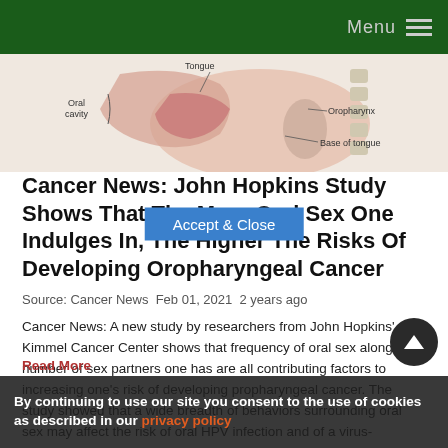Menu
[Figure (illustration): Medical anatomy diagram showing a cross-section of the human head and neck, labeling oral cavity, tongue, oropharynx, and base of tongue.]
Cancer News: John Hopkins Study Shows That The More Oral Sex One Indulges In, The Higher The Risks Of Developing Oropharyngeal Cancer
Source: Cancer News  Feb 01, 2021  2 years ago
Cancer News: A new study by researchers from John Hopkins' Kimmel Cancer Center shows that frequency of oral sex along with number of sex partners one has are all contributing factors to increasing one's risk of developing propharyngeal cancer. The study showed that a wide breadth of behaviors surrounding oral sex may affect the risk of oral HPV infection and of a virus-associated hea...
Read More
By continuing to use our site you consent to the use of cookies as described in our privacy policy